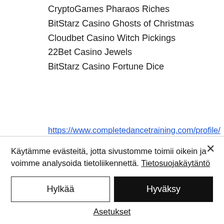CryptoGames Pharaos Riches
BitStarz Casino Ghosts of Christmas
Cloudbet Casino Witch Pickings
22Bet Casino Jewels
BitStarz Casino Fortune Dice
https://www.completedancetraining.com/profile/miquelmeinke1978/profile
https://www.unexpected-studio.com/profile/rosanacwalinski1998/profile
https://www.erindecuir.com/profile/humbertobreitenbucher1998/profile
https://www.ranei-...
Käytämme evästeitä, jotta sivustomme toimii oikein ja voimme analysoida tietoliikennettä. Tietosuojakäytäntö
Hylkää
Hyväksy
Asetukset